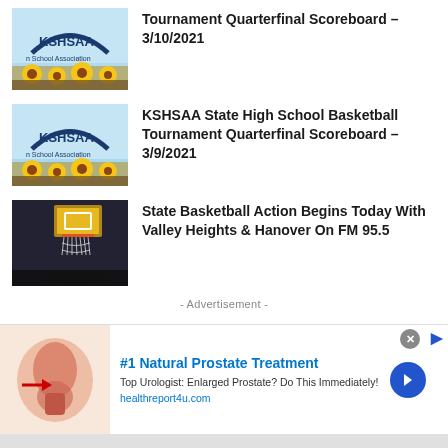[Figure (photo): KSHSAA logo with sunflowers background thumbnail]
Tournament Quarterfinal Scoreboard – 3/10/2021
[Figure (photo): KSHSAA logo with sunflowers background thumbnail]
KSHSAA State High School Basketball Tournament Quarterfinal Scoreboard – 3/9/2021
[Figure (photo): Basketball hoop close-up photo]
State Basketball Action Begins Today With Valley Heights & Hanover On FM 95.5
- Advertisement -
[Figure (photo): Medical advertisement: #1 Natural Prostate Treatment - Top Urologist: Enlarged Prostate? Do This Immediately! healthreport4u.com]